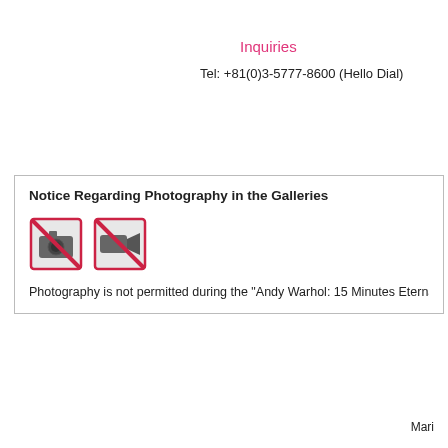Inquiries
Tel: +81(0)3-5777-8600 (Hello Dial)
Notice Regarding Photography in the Galleries
[Figure (infographic): Two no-photography icons with red diagonal slash marks: one showing a camera, one showing a video camera]
Photography is not permitted during the "Andy Warhol: 15 Minutes Eternal" e
Mari